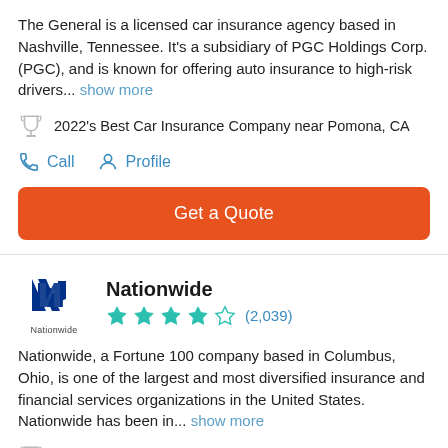The General is a licensed car insurance agency based in Nashville, Tennessee. It's a subsidiary of PGC Holdings Corp. (PGC), and is known for offering auto insurance to high-risk drivers... show more
2022's Best Car Insurance Company near Pomona, CA
Call   Profile
Get a Quote
Nationwide
★★★★☆ (2,039)
Nationwide, a Fortune 100 company based in Columbus, Ohio, is one of the largest and most diversified insurance and financial services organizations in the United States. Nationwide has been in... show more
2022's Best Car Insurance Company near Pomona, CA